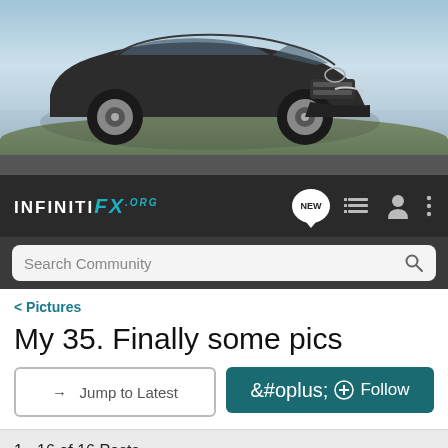[Figure (photo): Infiniti FX advertisement banner showing a dark grey Infiniti FX SUV on a road with cloudy sky background, orange accent in top-left corner]
INFINITI FX .ORG — navigation bar with NEW, list, user, and menu icons, plus Search Community search bar
< Pictures
My 35. Finally some pics
→ Jump to Latest   ⊕ Follow
1 - 16 of 16 Posts
gto-dave · Registered
Joined Apr 1, 2005 · 883 Posts